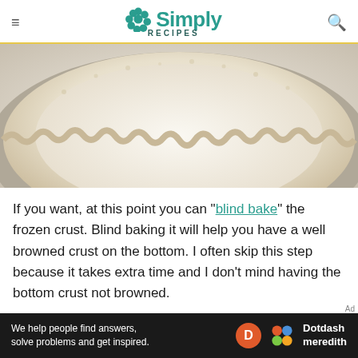Simply Recipes
[Figure (photo): Close-up top-down view of an unbaked pie crust in a fluted tart/pie pan, showing crimped edges and raw pale dough on a light background.]
If you want, at this point you can "blind bake" the frozen crust. Blind baking it will help you have a well browned crust on the bottom. I often skip this step because it takes extra time and I don't mind having the bottom crust not browned.
But, if that is what you want, then line the
[Figure (logo): Dotdash Meredith advertisement banner: 'We help people find answers, solve problems and get inspired.' with Dotdash Meredith logo.]